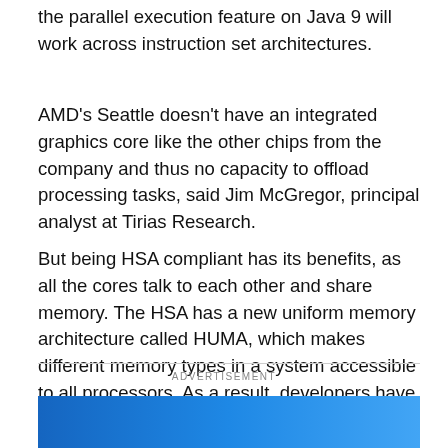the parallel execution feature on Java 9 will work across instruction set architectures.
AMD's Seattle doesn't have an integrated graphics core like the other chips from the company and thus no capacity to offload processing tasks, said Jim McGregor, principal analyst at Tirias Research.
But being HSA compliant has its benefits, as all the cores talk to each other and share memory. The HSA has a new uniform memory architecture called HUMA, which makes different memory types in a system accessible to all processors. As a result, developers have access to a larger shared memory pool for code execution.
ADVERTISEMENT
[Figure (other): Blue advertisement banner at the bottom of the page]